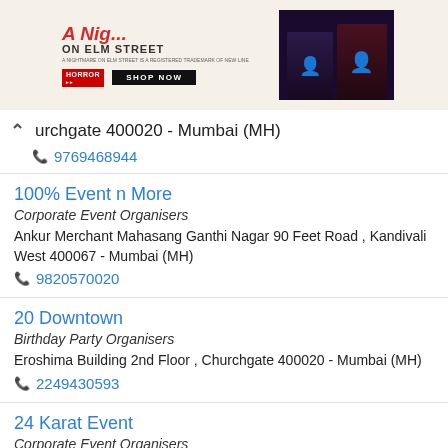[Figure (photo): Advertisement banner for a horror-themed merchandise shop showing stylized text 'A Nig... ON ELM STREET' with HORROR branding and SHOP NOW button, alongside two figures in Halloween costumes against a dark background.]
urchgate 400020 - Mumbai (MH)
9769468944
100% Event n More
Corporate Event Organisers
Ankur Merchant Mahasang Ganthi Nagar 90 Feet Road , Kandivali West 400067 - Mumbai (MH)
9820570020
20 Downtown
Birthday Party Organisers
Eroshima Building 2nd Floor , Churchgate 400020 - Mumbai (MH)
2249430593
24 Karat Event
Corporate Event Organisers
No. 10 s n Audumber Chambers Ltd. Shastri Nagar , Malad West 400064 - Mumbai (MH)
9820526615
24 Karat Events